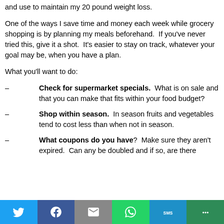and use to maintain my 20 pound weight loss.
One of the ways I save time and money each week while grocery shopping is by planning my meals beforehand. If you've never tried this, give it a shot. It's easier to stay on track, whatever your goal may be, when you have a plan.
What you'll want to do:
– Check for supermarket specials. What is on sale and that you can make that fits within your food budget?
– Shop within season. In season fruits and vegetables tend to cost less than when not in season.
– What coupons do you have? Make sure they aren't expired. Can any be doubled and if so, are there